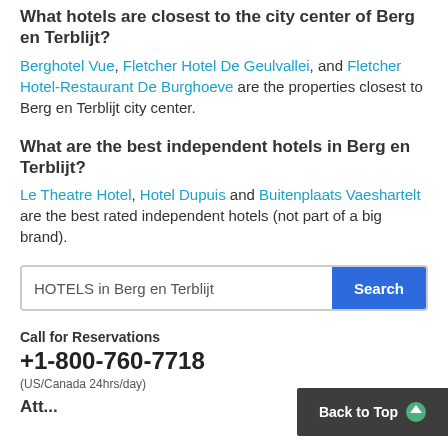What hotels are closest to the city center of Berg en Terblijt?
Berghotel Vue, Fletcher Hotel De Geulvallei, and Fletcher Hotel-Restaurant De Burghoeve are the properties closest to Berg en Terblijt city center.
What are the best independent hotels in Berg en Terblijt?
Le Theatre Hotel, Hotel Dupuis and Buitenplaats Vaeshartelt are the best rated independent hotels (not part of a big brand).
HOTELS in Berg en Terblijt  Search
Call for Reservations
+1-800-760-7718
(US/Canada 24hrs/day)
Back to Top
Att...